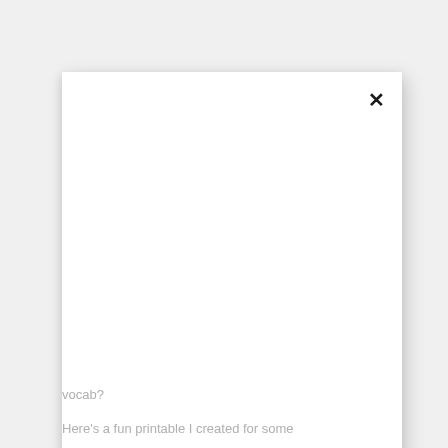[Figure (other): A white card/modal dialog with a close (×) button in the top-right corner, displayed over a light gray background. The card is mostly blank/white content area.]
vocab?
Here's a fun printable I created for some